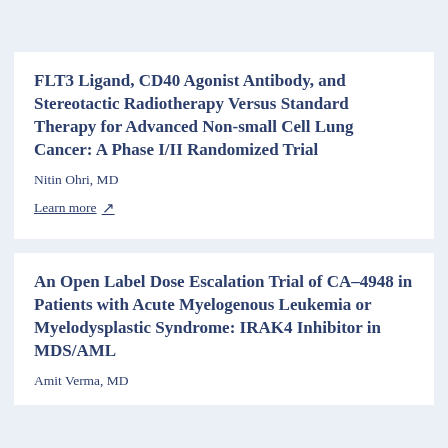FLT3 Ligand, CD40 Agonist Antibody, and Stereotactic Radiotherapy Versus Standard Therapy for Advanced Non-small Cell Lung Cancer: A Phase I/II Randomized Trial
Nitin Ohri, MD
Learn more ↗
An Open Label Dose Escalation Trial of CA-4948 in Patients with Acute Myelogenous Leukemia or Myelodysplastic Syndrome: IRAK4 Inhibitor in MDS/AML
Amit Verma, MD